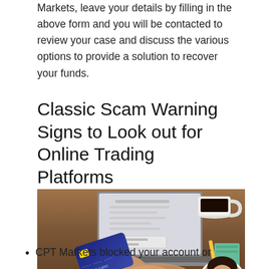Markets, leave your details by filling in the above form and you will be contacted to review your case and discuss the various options to provide a solution to recover your funds.
Classic Scam Warning Signs to Look out for Online Trading Platforms
[Figure (photo): Person holding a credit card while using a laptop, with a coffee cup and notebook visible on a wooden desk]
CPT Markets blocked your account or